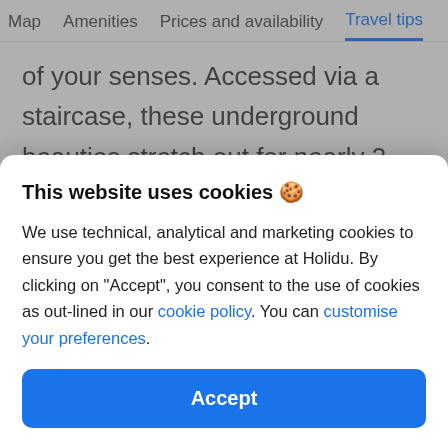Map   Amenities   Prices and availability   Travel tips
of your senses. Accessed via a staircase, these underground beauties stretch out for nearly 3 miles. One of the three main chambers forms a natural amphitheatre and it helds concerts regularly. Six paintings of seals are more than
This website uses cookies 🍪
We use technical, analytical and marketing cookies to ensure you get the best experience at Holidu. By clicking on "Accept", you consent to the use of cookies as out-lined in our cookie policy. You can customise your preferences.
Accept